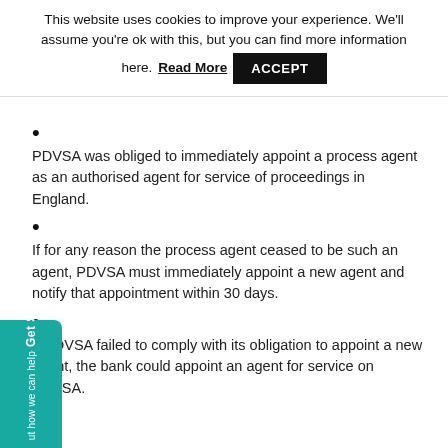This website uses cookies to improve your experience. We'll assume you're ok with this, but you can find more information here. Read More ACCEPT
PDVSA was obliged to immediately appoint a process agent as an authorised agent for service of proceedings in England.
If for any reason the process agent ceased to be such an agent, PDVSA must immediately appoint a new agent and notify that appointment within 30 days.
If PDVSA failed to comply with its obligation to appoint a new agent, the bank could appoint an agent for service on PDVSA.